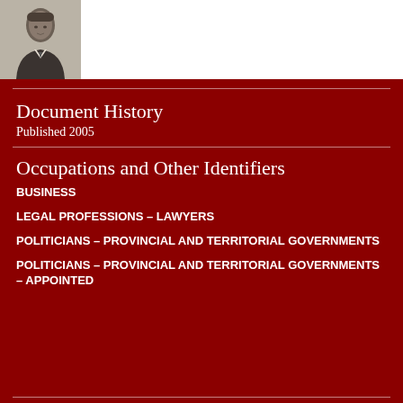[Figure (photo): Black and white portrait photograph of a man in formal attire, positioned in the top-left corner]
Document History
Published 2005
Occupations and Other Identifiers
BUSINESS
LEGAL PROFESSIONS – LAWYERS
POLITICIANS – PROVINCIAL AND TERRITORIAL GOVERNMENTS
POLITICIANS – PROVINCIAL AND TERRITORIAL GOVERNMENTS – APPOINTED